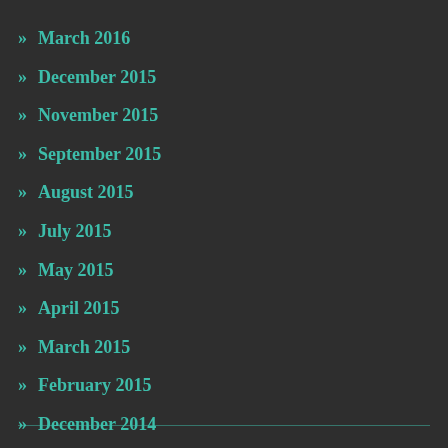» March 2016
» December 2015
» November 2015
» September 2015
» August 2015
» July 2015
» May 2015
» April 2015
» March 2015
» February 2015
» December 2014
» October 2014